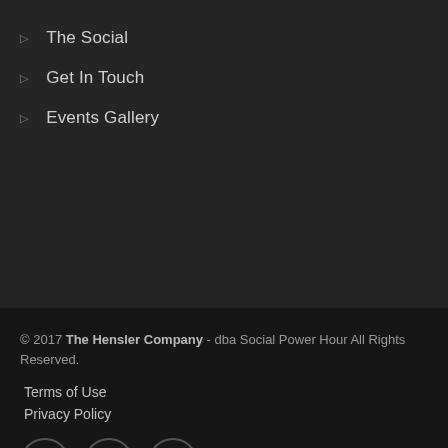The Social
Get In Touch
Events Gallery
© 2017 The Hensler Company - dba Social Power Hour All Rights Reserved.
Terms of Use
Privacy Policy